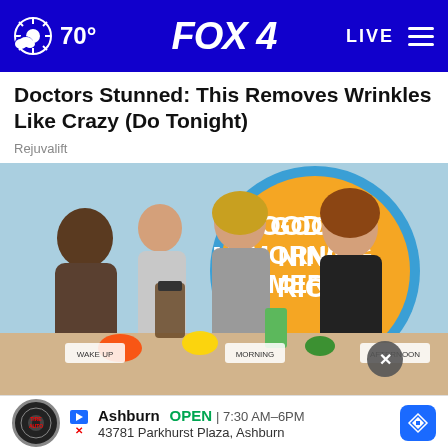70° FOX 4 LIVE
Doctors Stunned: This Removes Wrinkles Like Crazy (Do Tonight)
Rejuvalift
[Figure (photo): TV show set of Good Morning America with three women standing at a table covered with food, blenders, and smoothies. A large Good Morning America circular logo is visible in the background.]
Ashburn OPEN | 7:30 AM–6PM  43781 Parkhurst Plaza, Ashburn
Dr. D... wn to This Daily Routine: